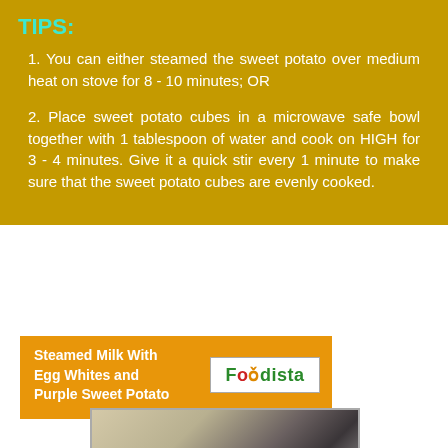TIPS:
1. You can either steamed the sweet potato over medium heat on stove for 8 - 10 minutes; OR
2. Place sweet potato cubes in a microwave safe bowl together with 1 tablespoon of water and cook on HIGH for 3 - 4 minutes. Give it a quick stir every 1 minute to make sure that the sweet potato cubes are evenly cooked.
Steamed Milk With Egg Whites and Purple Sweet Potato
[Figure (logo): Foodista logo in green text with red and orange accent letters on white background]
[Figure (photo): Close-up photo of a spoon over what appears to be a dish, on a woven mat background]